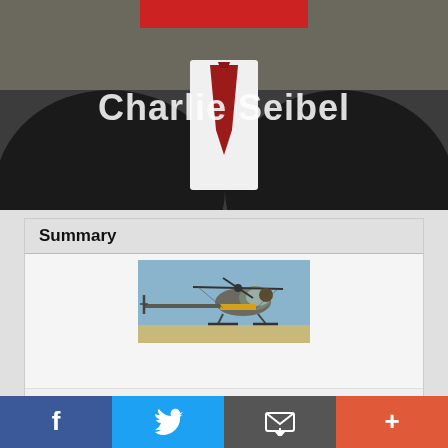[Figure (photo): Photo of Charlie Seibel, a person in a dark suit with a red tie, stone wall in background, text overlay reads 'Charlie Seibel' in white with a red redaction bar over the face]
Summary
[Figure (photo): Vintage photo of a homemade helicopter built from truck parts, flying low over a desert/arid terrain with a long tail boom and rotor]
Article Name  Man Builds Helicopter From Truck Parts